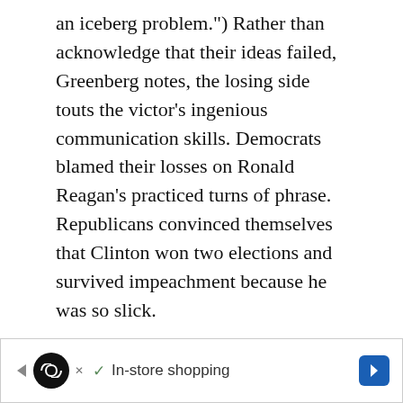an iceberg problem.") Rather than acknowledge that their ideas failed, Greenberg notes, the losing side touts the victor's ingenious communication skills. Democrats blamed their losses on Ronald Reagan's practiced turns of phrase. Republicans convinced themselves that Clinton won two elections and survived impeachment because he was so slick.
The most famous example of he-won-because-he-was-silver-tongued may not even be true, Greenberg writes. We're all taught that John F. Kennedy nailed the 1960 presidential debates because he was willing to use makeup and
[Figure (other): Advertisement banner with logo, checkmark, and 'In-store shopping' text with navigation arrows]